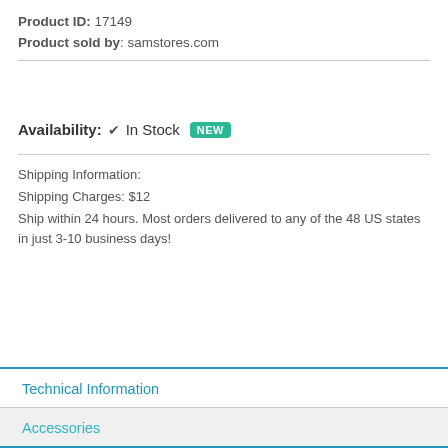Product ID: 17149
Product sold by: samstores.com
Availability: ✔ In Stock NEW
Shipping Information:
Shipping Charges: $12
Ship within 24 hours. Most orders delivered to any of the 48 US states in just 3-10 business days!
Technical Information
Accessories